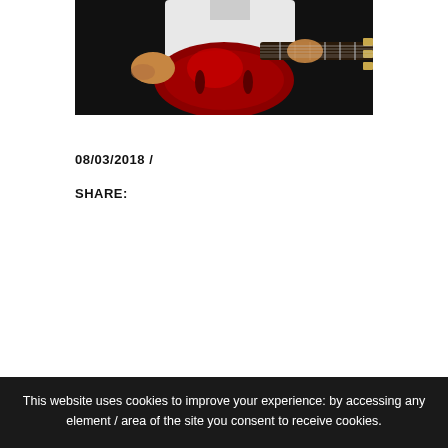[Figure (photo): Person playing a red archtop electric guitar, wearing a white t-shirt, dark background]
08/03/2018 /
SHARE:
This website uses cookies to improve your experience: by accessing any element / area of the site you consent to receive cookies.